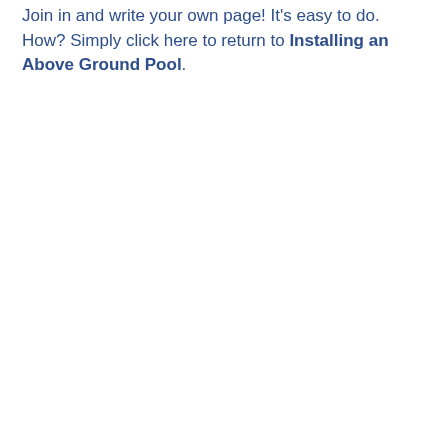Join in and write your own page! It's easy to do. How? Simply click here to return to Installing an Above Ground Pool.